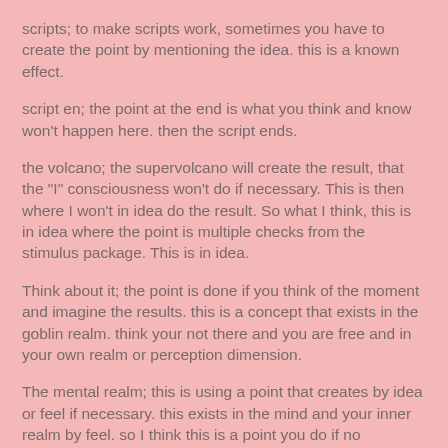scripts; to make scripts work, sometimes you have to create the point by mentioning the idea. this is a known effect.
script en; the point at the end is what you think and know won't happen here. then the script ends.
the volcano; the supervolcano will create the result, that the "I" consciousness won't do if necessary. This is then where I won't in idea do the result. So what I think, this is in idea where the point is multiple checks from the stimulus package. This is in idea.
Think about it; the point is done if you think of the moment and imagine the results. this is a concept that exists in the goblin realm. think your not there and you are free and in your own realm or perception dimension.
The mental realm; this is using a point that creates by idea or feel if necessary. this exists in the mind and your inner realm by feel. so I think this is a point you do if no response then do what you think and think to not respond hostily. this is a